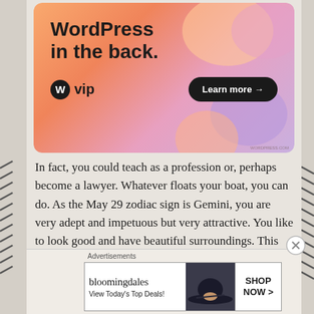[Figure (other): WordPress VIP advertisement banner with orange/pink/purple gradient background showing 'WordPress in the back.' text, WordPress logo with 'vip' text, and 'Learn more →' button]
In fact, you could teach as a profession or, perhaps become a lawyer. Whatever floats your boat, you can do. As the May 29 zodiac sign is Gemini, you are very adept and impetuous but very attractive. You like to look good and have beautiful surroundings. This quality can be costly, but this Twin knows the boundaries.
Advertisements
[Figure (other): Bloomingdale's advertisement showing logo, 'View Today's Top Deals!' text, a woman wearing a large hat, and 'SHOP NOW >' button]